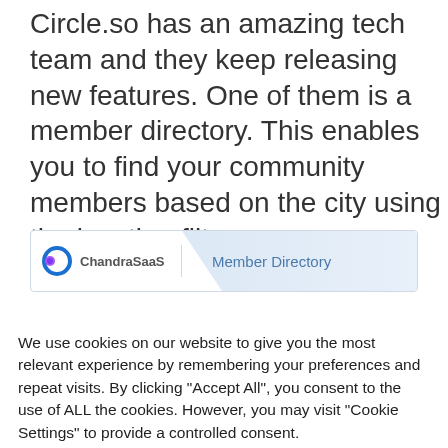Circle.so has an amazing tech team and they keep releasing new features. One of them is a member directory. This enables you to find your community members based on the city using the location filter.
[Figure (screenshot): ChandraSaaS website screenshot showing a Member Directory tab in a navigation bar with the ChandraSaaS logo on the left and 'Member Directory' tab highlighted on the right.]
We use cookies on our website to give you the most relevant experience by remembering your preferences and repeat visits. By clicking "Accept All", you consent to the use of ALL the cookies. However, you may visit "Cookie Settings" to provide a controlled consent.